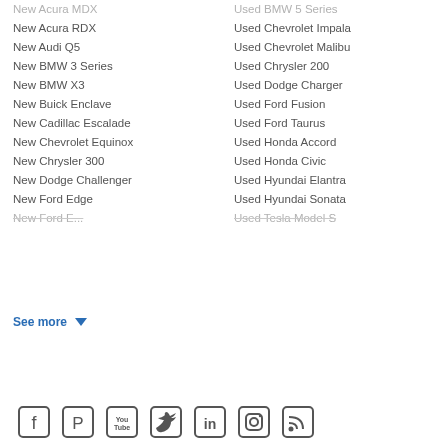New Acura MDX
New Acura RDX
New Audi Q5
New BMW 3 Series
New BMW X3
New Buick Enclave
New Cadillac Escalade
New Chevrolet Equinox
New Chrysler 300
New Dodge Challenger
New Ford Edge
New Ford E...
Used BMW 5 Series
Used Chevrolet Impala
Used Chevrolet Malibu
Used Chrysler 200
Used Dodge Charger
Used Ford Fusion
Used Ford Taurus
Used Honda Accord
Used Honda Civic
Used Hyundai Elantra
Used Hyundai Sonata
Used Tesla Model S
See more
[Figure (infographic): Social media icons row: Facebook, Pinterest, YouTube, Twitter, LinkedIn, Instagram, RSS feed]